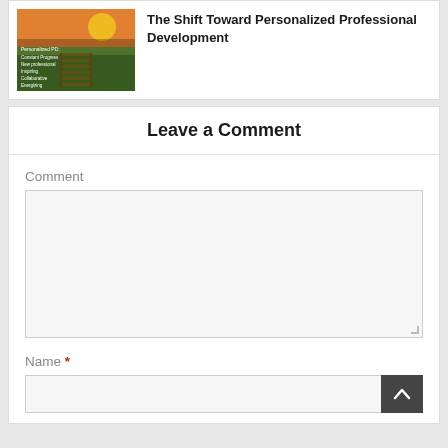[Figure (photo): Thumbnail image of a wooden boardwalk at sunset with a bicycle, overlaid with text about Personalized PD topics]
The Shift Toward Personalized Professional Development
Leave a Comment
Comment
Name *